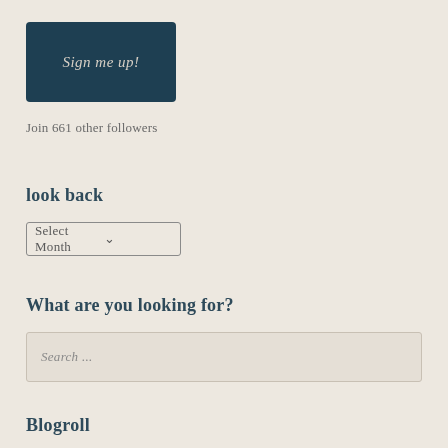[Figure (other): Dark teal/navy rectangular button with italic text 'Sign me up!' in light cream color]
Join 661 other followers
look back
[Figure (other): Dropdown select box labeled 'Select Month' with a chevron/arrow on the right]
What are you looking for?
Search ...
Blogroll